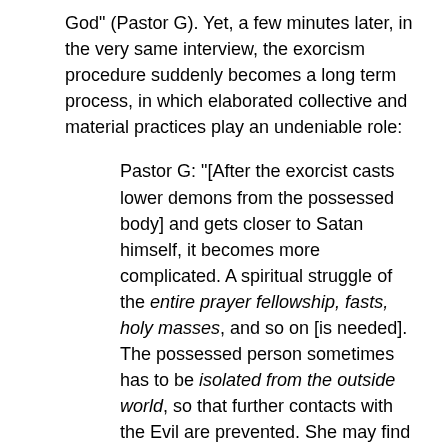God" (Pastor G). Yet, a few minutes later, in the very same interview, the exorcism procedure suddenly becomes a long term process, in which elaborated collective and material practices play an undeniable role:
Pastor G: "[After the exorcist casts lower demons from the possessed body] and gets closer to Satan himself, it becomes more complicated. A spiritual struggle of the entire prayer fellowship, fasts, holy masses, and so on [is needed]. The possessed person sometimes has to be isolated from the outside world, so that further contacts with the Evil are prevented. She may find a shelter in a monastery, participating in divine services, praying alone. For instance, a man from [name of a city] was given a picture of Christ, which was to help him to have the idea of Jesus Christ in mind" (emphasis ours). 23) [49]
As mentioned above, the exorcist speaks to the